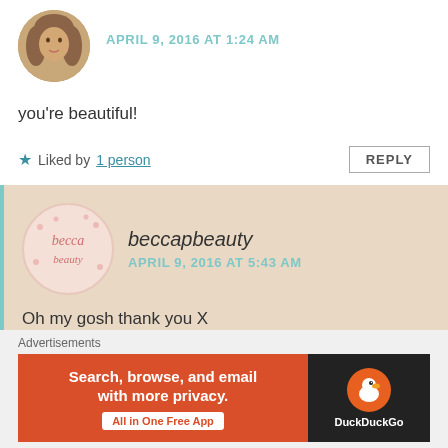[Figure (photo): Circular avatar photo of a woman with long wavy hair]
APRIL 9, 2016 AT 1:24 AM
you're beautiful!
★ Liked by 1 person
REPLY
[Figure (logo): beccapbeauty circular logo with pink text on light pink background with dots]
beccapbeauty
APRIL 9, 2016 AT 5:43 AM
Oh my gosh thank you X
★ Like
REPLY
Advertisements
[Figure (screenshot): DuckDuckGo advertisement banner: Search, browse, and email with more privacy. All in One Free App.]